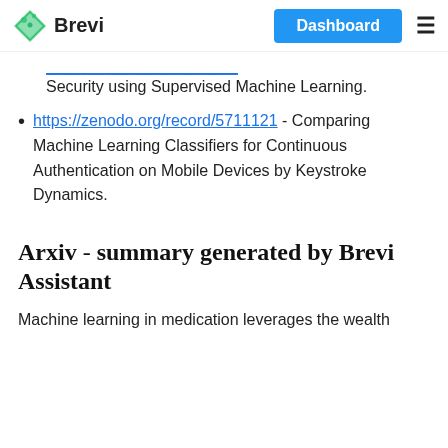Brevi | Dashboard
[partial link] Security using Supervised Machine Learning.
https://zenodo.org/record/5711121 - Comparing Machine Learning Classifiers for Continuous Authentication on Mobile Devices by Keystroke Dynamics.
Arxiv - summary generated by Brevi Assistant
Machine learning in medication leverages the wealth